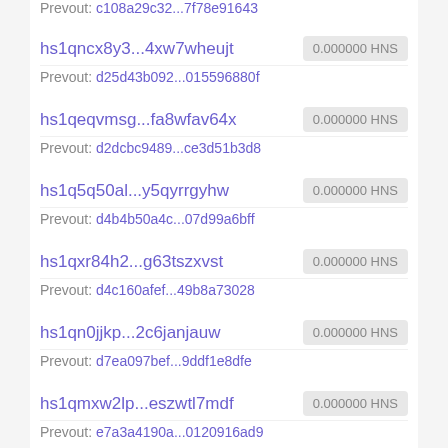Prevout: c108a29c32...7f78e91643
hs1qncx8y3...4xw7wheujt | 0.000000 HNS
Prevout: d25d43b092...015596880f
hs1qeqvmsg...fa8wfav64x | 0.000000 HNS
Prevout: d2dcbc9489...ce3d51b3d8
hs1q5q50al...y5qyrrgyhw | 0.000000 HNS
Prevout: d4b4b50a4c...07d99a6bff
hs1qxr84h2...g63tszxvst | 0.000000 HNS
Prevout: d4c160afef...49b8a73028
hs1qn0jjkp...2c6janjauw | 0.000000 HNS
Prevout: d7ea097bef...9ddf1e8dfe
hs1qmxw2lp...eszwtl7mdf | 0.000000 HNS
Prevout: e7a3a4190a...0120916ad9
hs1qpvfc0e...7v8gqb2933 | 0.000000 HNS